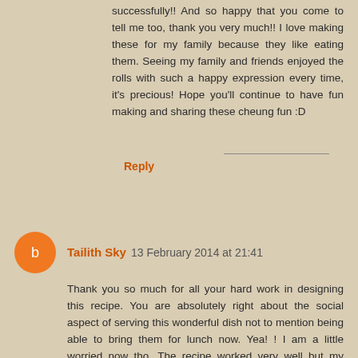successfully!! And so happy that you come to tell me too, thank you very much!! I love making these for my family because they like eating them. Seeing my family and friends enjoyed the rolls with such a happy expression every time, it's precious! Hope you'll continue to have fun making and sharing these cheung fun :D
Reply
Tailith Sky 13 February 2014 at 21:41
Thank you so much for all your hard work in designing this recipe. You are absolutely right about the social aspect of serving this wonderful dish not to mention being able to bring them for lunch now. Yea! ! I am a little worried now tho. The recipe worked very well but my friend insists that this recipe uses regular western potato starch and not the sweet potato starch that I used. Please tell me, Is he right?
Reply